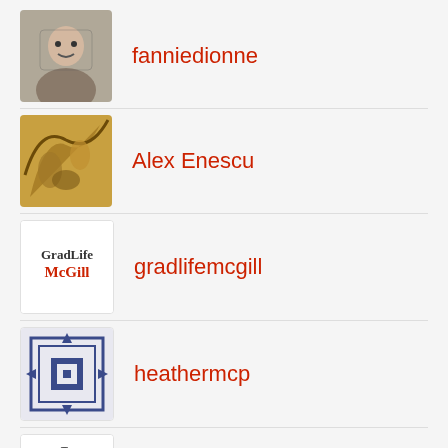fanniedionne
Alex Enescu
gradlifemcgill
heathermcp
JeSuisElles
kathrynvaillancourt
(partial)